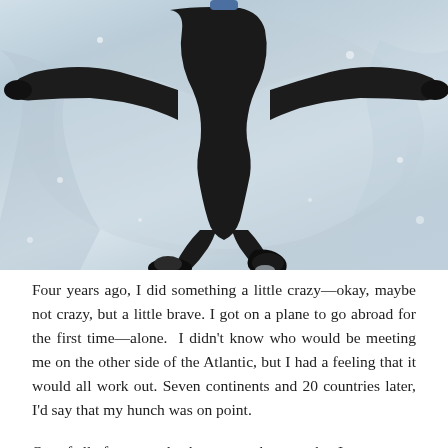[Figure (photo): Aerial/top-down view of a person lying spread-eagle on snow, wearing dark black pants and jacket, with snow boots visible. The snow is white and textured with blue-grey shadows.]
Four years ago, I did something a little crazy—okay, maybe not crazy, but a little brave. I got on a plane to go abroad for the first time—alone. I didn't know who would be meeting me on the other side of the Atlantic, but I had a feeling that it would all work out. Seven continents and 20 countries later, I'd say that my hunch was on point.
Out of all of my travels, the greatest bravery that I